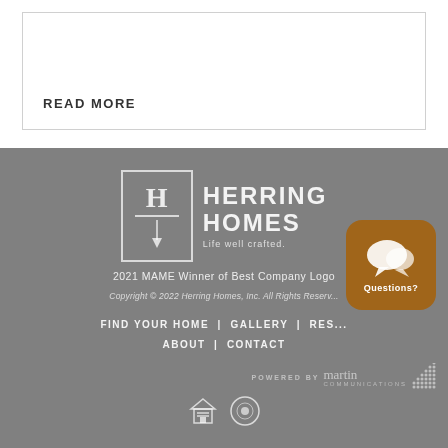READ MORE
[Figure (logo): Herring Homes logo with H lettermark in bordered box, text HERRING HOMES Life well crafted.]
2021 MAME Winner of Best Company Logo
Copyright © 2022 Herring Homes, Inc. All Rights Reserved.
FIND YOUR HOME | GALLERY | RESOURCES | ABOUT | CONTACT
[Figure (logo): Powered by Martin Communications logo with dot grid pattern]
[Figure (illustration): Equal housing opportunity icon and another circular icon]
[Figure (other): Brown rounded square chat bubble icon with speech bubbles and Questions? text]